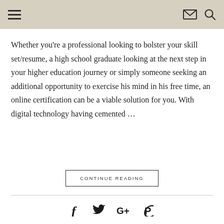Navigation header with hamburger menu, envelope icon, and search icon
Whether you're a professional looking to bolster your skill set/resume, a high school graduate looking at the next step in your higher education journey or simply someone seeking an additional opportunity to exercise his mind in his free time, an online certification can be a viable solution for you. With digital technology having cemented …
CONTINUE READING
Social icons: Facebook, Twitter, Google+, Pinterest